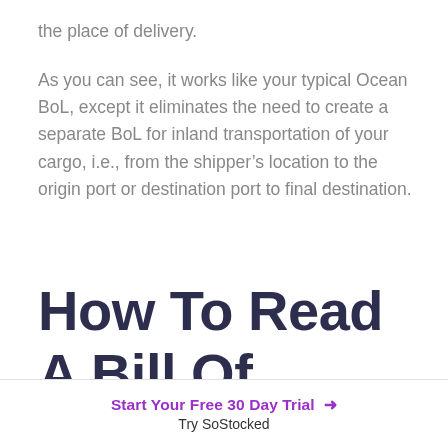the place of delivery.
As you can see, it works like your typical Ocean BoL, except it eliminates the need to create a separate BoL for inland transportation of your cargo, i.e., from the shipper’s location to the origin port or destination port to final destination.
How To Read A Bill Of Lading
Start Your Free 30 Day Trial → Try SoStocked